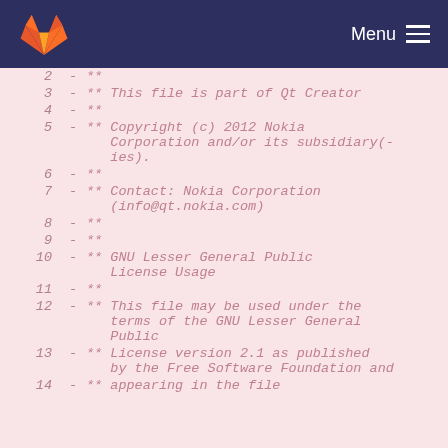GitLab — Menu
2  - **
3  - ** This file is part of Qt Creator
4  - **
5  - ** Copyright (c) 2012 Nokia Corporation and/or its subsidiary(-ies).
6  - **
7  - ** Contact: Nokia Corporation (info@qt.nokia.com)
8  - **
9  - **
10 - ** GNU Lesser General Public License Usage
11 - **
12 - ** This file may be used under the terms of the GNU Lesser General Public
13 - ** License version 2.1 as published by the Free Software Foundation and
14 - ** appearing in the file